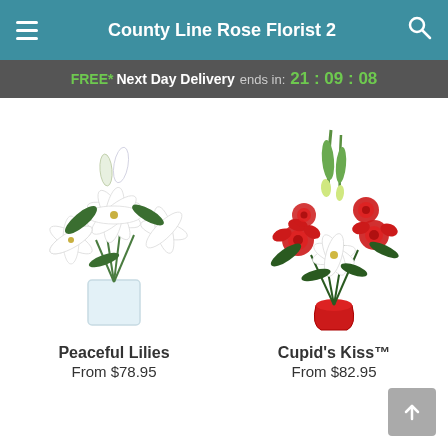County Line Rose Florist 2
FREE* Next Day Delivery ends in: 21:09:08
[Figure (photo): White lilies arrangement in a glass square vase]
Peaceful Lilies
From $78.95
[Figure (photo): Red roses and white lilies in a red vase — Cupid's Kiss]
Cupid's Kiss™
From $82.95